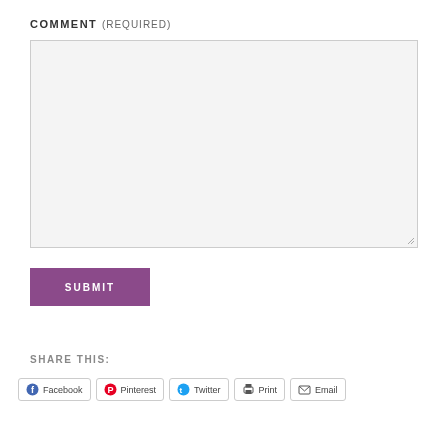COMMENT (REQUIRED)
[Figure (screenshot): Empty comment text area input field with light gray background and resize handle]
[Figure (screenshot): Purple SUBMIT button]
SHARE THIS:
[Figure (infographic): Social sharing buttons: Facebook, Pinterest, Twitter, Print, Email]